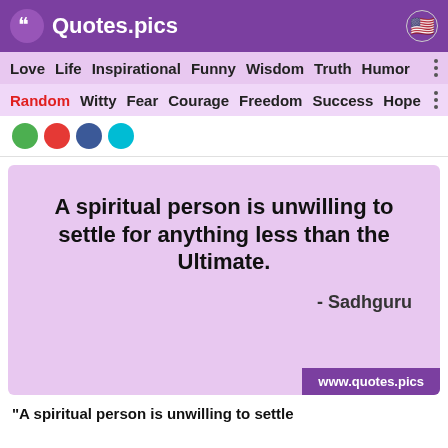Quotes.pics
Love  Life  Inspirational  Funny  Wisdom  Truth  Humor
Random  Witty  Fear  Courage  Freedom  Success  Hope
[Figure (illustration): Quote card with light purple background showing the Sadhguru quote and www.quotes.pics watermark]
A spiritual person is unwilling to settle for anything less than the Ultimate.
- Sadhguru
"A spiritual person is unwilling to settle